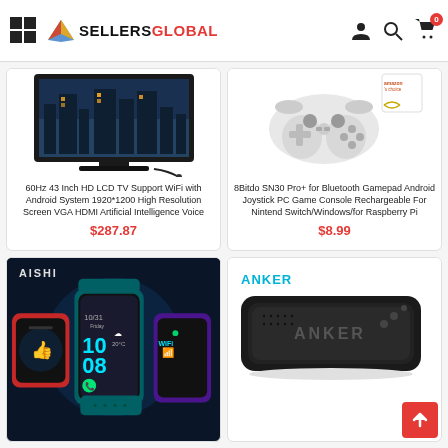SellersGlobal
[Figure (photo): 60Hz 43 Inch HD LCD TV product image]
60Hz 43 Inch HD LCD TV Support WiFi with Android System 1920*1200 High Resolution Screen VGA HDMI Artificial Intelligence Voice
$287.87
[Figure (photo): 8Bitdo SN30 Pro+ Bluetooth Gamepad product image with Amazon's Choice badge]
8Bitdo SN30 Pro+ for Bluetooth Gamepad Android Joystick PC Game Console Rechargeable For Nintend Switch/Windows/for Raspberry Pi
$8.99
[Figure (photo): AISHI kids smartwatch product image showing colorful smartwatches]
[Figure (photo): ANKER Bluetooth speaker product image showing black speaker]